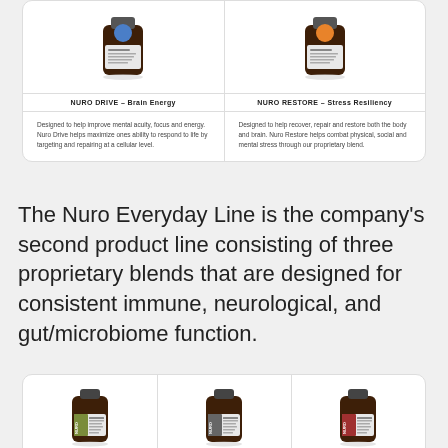[Figure (photo): Product table showing NURO DRIVE and NURO RESTORE supplement bottles in amber glass with colored caps]
| NURO DRIVE – Brain Energy | NURO RESTORE – Stress Resiliency |
| --- | --- |
| Designed to help improve mental acuity, focus and energy. Nuro Drive helps maximize ones ability to respond to life by targeting and repairing at a cellular level. | Designed to help recover, repair and restore both the body and brain. Nuro Restore helps combat physical, social and mental stress through our proprietary blend. |
The Nuro Everyday Line is the company's second product line consisting of three proprietary blends that are designed for consistent immune, neurological, and gut/microbiome function.
| NURO REGEN | NURO BRAIN + BIOME | NURO DEFEND |
| --- | --- | --- |